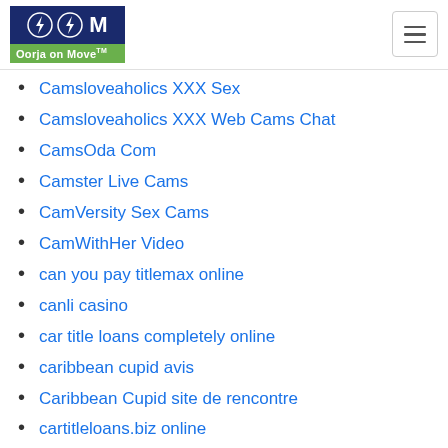Oorja on Move™ — navigation header with logo and hamburger menu
Camsloveaholics XXX Sex
Camsloveaholics XXX Web Cams Chat
CamsOda Com
Camster Live Cams
CamVersity Sex Cams
CamWithHer Video
can you pay titlemax online
canli casino
car title loans completely online
caribbean cupid avis
Caribbean Cupid site de rencontre
cartitleloans.biz online
cash 2 go payday loans
cash advance approved
cash advance everyone approved
cash advance payday loans